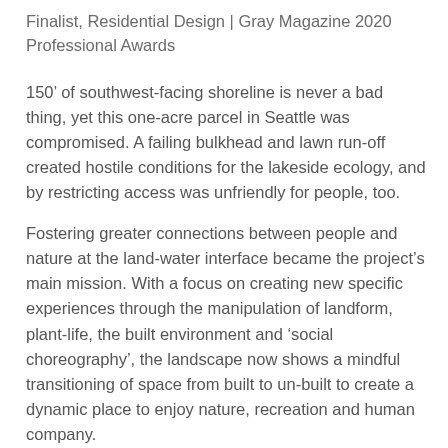Finalist, Residential Design | Gray Magazine 2020 Professional Awards
150′ of southwest-facing shoreline is never a bad thing, yet this one-acre parcel in Seattle was compromised. A failing bulkhead and lawn run-off created hostile conditions for the lakeside ecology, and by restricting access was unfriendly for people, too.
Fostering greater connections between people and nature at the land-water interface became the project's main mission. With a focus on creating new specific experiences through the manipulation of landform, plant-life, the built environment and 'social choreography', the landscape now shows a mindful transitioning of space from built to un-built to create a dynamic place to enjoy nature, recreation and human company.